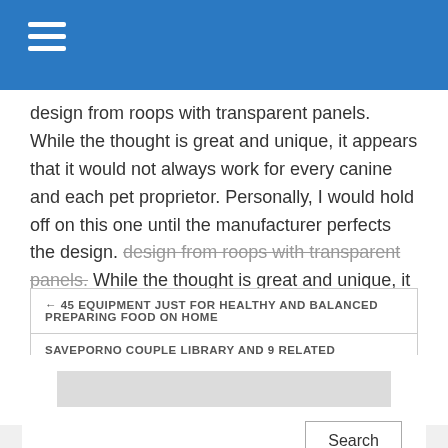[Figure (other): Blue navigation header bar with hamburger menu icon (three white horizontal lines)]
design from roops with transparent panels. While the thought is great and unique, it appears that it would not always work for every canine and each pet proprietor. Personally, I would hold off on this one until the manufacturer perfects the design.
← 45 EQUIPMENT JUST FOR HEALTHY AND BALANCED PREPARING FOOD ON HOME
SAVEPORNO COUPLE LIBRARY AND 9 RELATED WEBSITES LIKE BONGACAMS →
[Figure (other): Search widget with a light gray input field and a Search button]